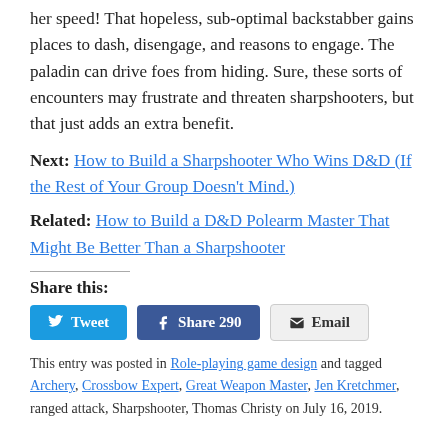strengths of melee characters. The monk finally gets to add her speed! That hopeless, sub-optimal backstabber gains places to dash, disengage, and reasons to engage. The paladin can drive foes from hiding. Sure, these sorts of encounters may frustrate and threaten sharpshooters, but that just adds an extra benefit.
Next: How to Build a Sharpshooter Who Wins D&D (If the Rest of Your Group Doesn't Mind.)
Related: How to Build a D&D Polearm Master That Might Be Better Than a Sharpshooter
Share this:
Tweet | Share 290 | Email
This entry was posted in Role-playing game design and tagged Archery, Crossbow Expert, Great Weapon Master, Jen Kretchmer, ranged attack, Sharpshooter, Thomas Christy on July 16, 2019.